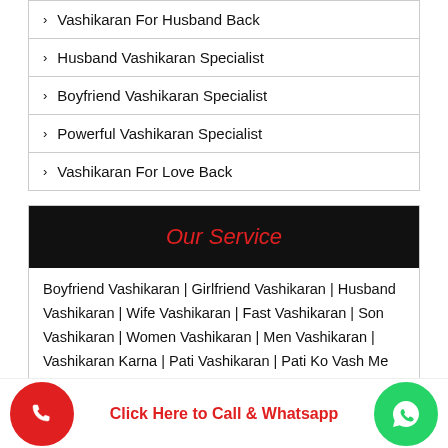> Vashikaran For Husband Back
> Husband Vashikaran Specialist
> Boyfriend Vashikaran Specialist
> Powerful Vashikaran Specialist
> Vashikaran For Love Back
Our Service
Boyfriend Vashikaran | Girlfriend Vashikaran | Husband Vashikaran | Wife Vashikaran | Fast Vashikaran | Son Vashikaran | Women Vashikaran | Men Vashikaran | Vashikaran Karna | Pati Vashikaran | Pati Ko Vash Me Karna | Stri Vashikaran | Vashikaran By Photo | Naam Se Vashikaran | Vashikaran Vidya | Nimbu Se Vashikaran | [Hindi] | [Hindi] | Purush Vashikaran Totke | [Hindi] | Saas Vashikaran | Kamdev Vashikaran Mantra | Sambhog Vashikaran Mantra | Vashikaran Totke| Mohini
Click Here to Call & Whatsapp